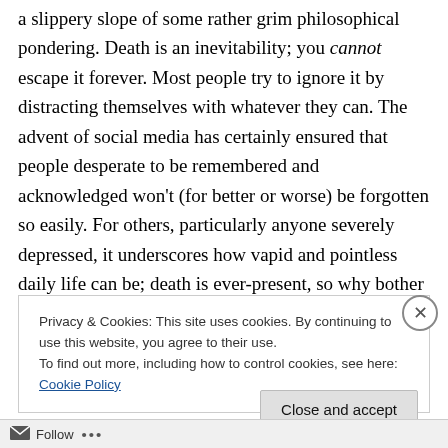a slippery slope of some rather grim philosophical pondering. Death is an inevitability; you cannot escape it forever. Most people try to ignore it by distracting themselves with whatever they can. The advent of social media has certainly ensured that people desperate to be remembered and acknowledged won't (for better or worse) be forgotten so easily. For others, particularly anyone severely depressed, it underscores how vapid and pointless daily life can be; death is ever-present, so why bother sticking around? For me, I've come to realize that life's inherent meaninglessness isn't a bad thing; as
Privacy & Cookies: This site uses cookies. By continuing to use this website, you agree to their use.
To find out more, including how to control cookies, see here: Cookie Policy
Close and accept
Follow